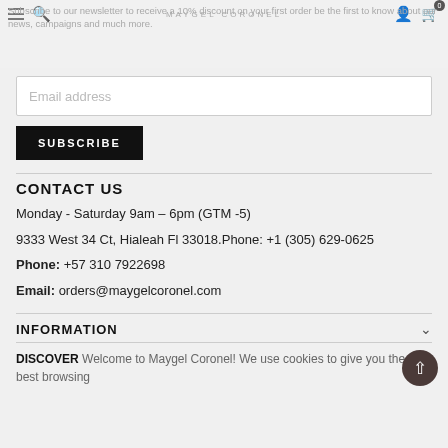Subscribe to our newsletter to receive a 10% discount on your first order be the first to know about our news, campaigns and much more.
Email address
SUBSCRIBE
CONTACT US
Monday - Saturday 9am – 6pm (GTM -5)
9333 West 34 Ct, Hialeah Fl 33018.Phone: +1 (305) 629-0625
Phone: +57 310 7922698
Email: orders@maygelcoronel.com
INFORMATION
DISCOVER Welcome to Maygel Coronel! We use cookies to give you the best browsing